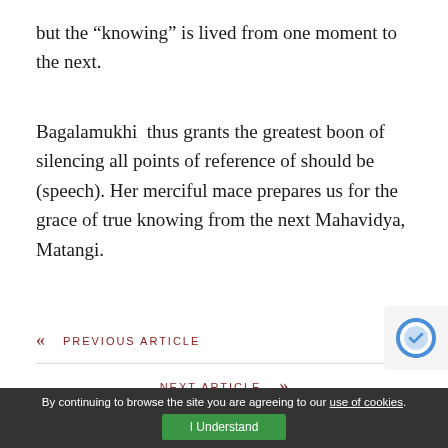but the “knowing” is lived from one moment to the next.
Bagalamukhi thus grants the greatest boon of silencing all points of reference of should be (speech). Her merciful mace prepares us for the grace of true knowing from the next Mahavidya, Matangi.
« PREVIOUS ARTICLE
NEXT ARTICLE »
By continuing to browse the site you are agreeing to our use of cookies. I Understand